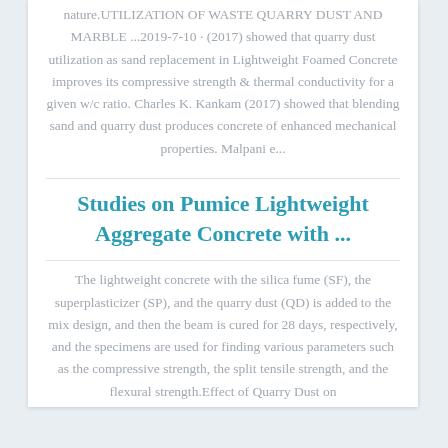nature.UTILIZATION OF WASTE QUARRY DUST AND MARBLE ...2019-7-10 · (2017) showed that quarry dust utilization as sand replacement in Lightweight Foamed Concrete improves its compressive strength & thermal conductivity for a given w/c ratio. Charles K. Kankam (2017) showed that blending sand and quarry dust produces concrete of enhanced mechanical properties. Malpani e...
Studies on Pumice Lightweight Aggregate Concrete with ...
The lightweight concrete with the silica fume (SF), the superplasticizer (SP), and the quarry dust (QD) is added to the mix design, and then the beam is cured for 28 days, respectively, and the specimens are used for finding various parameters such as the compressive strength, the split tensile strength, and the flexural strength.Effect of Quarry Dust on